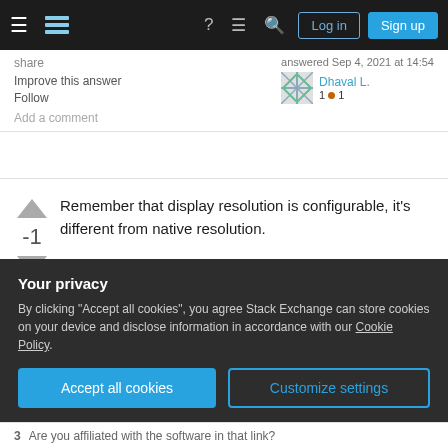Stack Exchange navigation bar with logo, hamburger, help, comments, search, Log in, Sign up
share
answered Sep 4, 2021 at 14:54
Improve this answer
Follow
Dhaval L.
1 ●1
Add a comment
Remember that display resolution is configurable, it's different from native resolution.

Another better choice is http://myscreenchecker.com, not only check for screen display resolution, but also for checking your screen color, screen health with 15 basic color
Your privacy
By clicking "Accept all cookies", you agree Stack Exchange can store cookies on your device and disclose information in accordance with our Cookie Policy.
Accept all cookies
Customize settings
3   Are you affiliated with the software in that link?